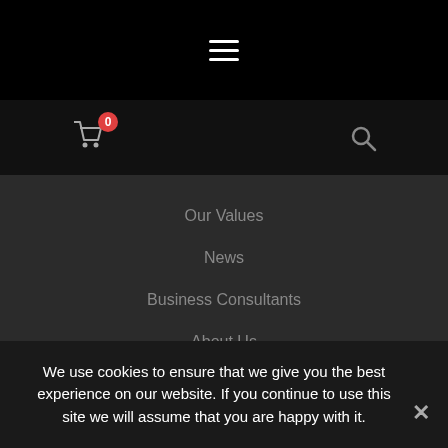[Figure (other): Hamburger menu icon (three horizontal lines) centered in black top bar]
[Figure (other): Shopping cart icon with red badge showing '0' and search icon on right, on dark bar]
Our Values
News
Business Consultants
About Us
Contact
Head Office
(+44) 01622 823 920
info@hand-media.com
We use cookies to ensure that we give you the best experience on our website. If you continue to use this site we will assume that you are happy with it.